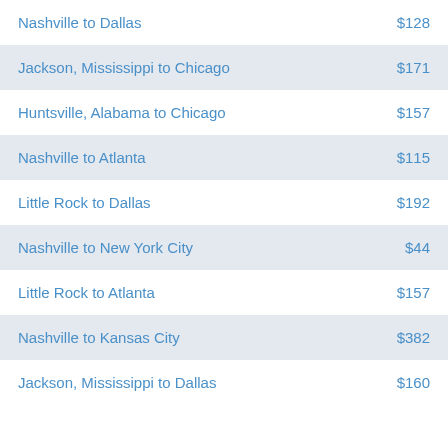Nashville to Dallas  $128
Jackson, Mississippi to Chicago  $171
Huntsville, Alabama to Chicago  $157
Nashville to Atlanta  $115
Little Rock to Dallas  $192
Nashville to New York City  $44
Little Rock to Atlanta  $157
Nashville to Kansas City  $382
Jackson, Mississippi to Dallas  $160